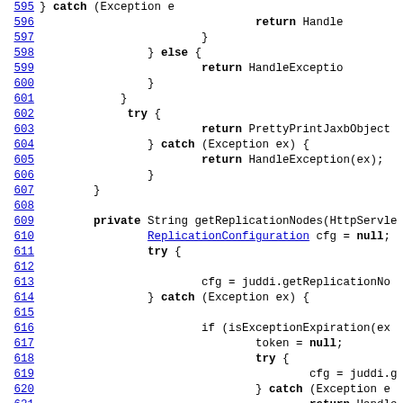[Figure (screenshot): Source code listing lines 595-625, Java code showing exception handling, try/catch blocks, getReplicationNodes method]